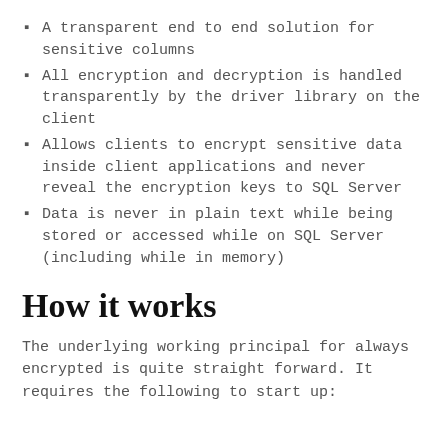A transparent end to end solution for sensitive columns
All encryption and decryption is handled transparently by the driver library on the client
Allows clients to encrypt sensitive data inside client applications and never reveal the encryption keys to SQL Server
Data is never in plain text while being stored or accessed while on SQL Server (including while in memory)
How it works
The underlying working principal for always encrypted is quite straight forward. It requires the following to start up: